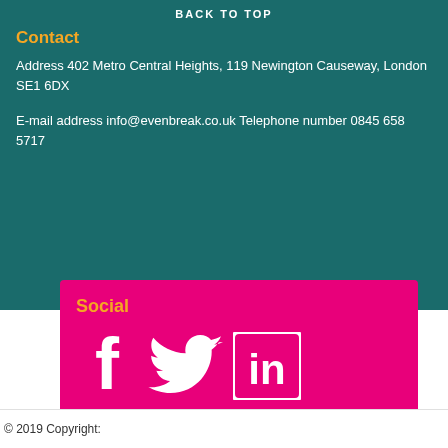Contact
Address 402 Metro Central Heights, 119 Newington Causeway, London SE1 6DX
E-mail address info@evenbreak.co.uk Telephone number 0845 658 5717
Social
[Figure (illustration): Social media icons: Facebook, Twitter, LinkedIn in white on pink background]
Powered by TribePad Job Boards
© 2019 Copyright: